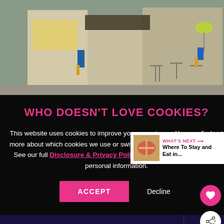[Figure (photo): Street scene showing a cafe exterior with people walking, one person with a yellow umbrella, outdoor seating with tables and chairs visible]
WHO DOESN'T LOVE COOKIES?
This website uses cookies to improve your experience. You can find out more about which cookies we use or switch them off in Cookie Settings. See our full Disclosure & Privacy Policy. Please do not sell my personal information.
ACCEPT  Decline
WHAT'S NEXT → Where To Stay and Eat in...
let's show it some love